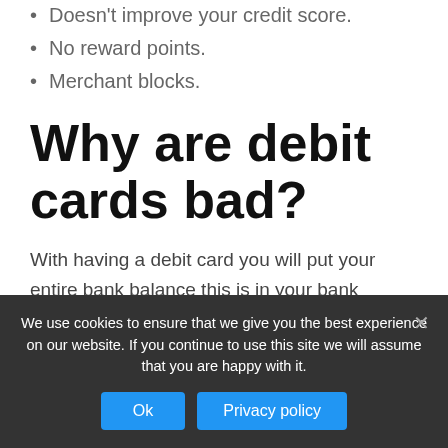Doesn't improve your credit score.
No reward points.
Merchant blocks.
Why are debit cards bad?
With having a debit card you will put your entire bank balance this is in your bank account at a high risk. If you connect your checking account to your savings account
We use cookies to ensure that we give you the best experience on our website. If you continue to use this site we will assume that you are happy with it.
Ok
Privacy policy